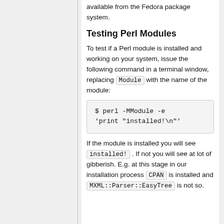available from the Fedora package system.
Testing Perl Modules
To test if a Perl module is installed and working on your system, issue the following command in a terminal window, replacing Module with the name of the module:
$ perl -MModule -e 'print "installed!\n"'
If the module is installed you will see installed! . If not you will see at lot of gibberish. E.g. at this stage in our installation process CPAN is installed and MXML::Parser::EasyTree is not so.